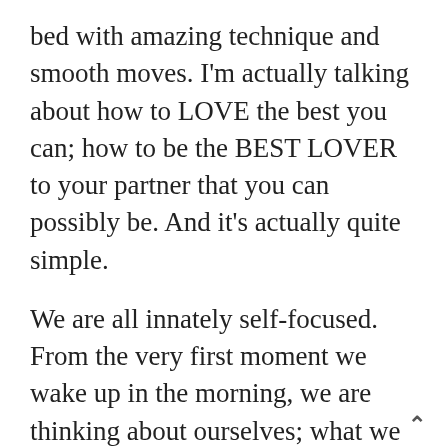bed with amazing technique and smooth moves. I'm actually talking about how to LOVE the best you can; how to be the BEST LOVER to your partner that you can possibly be. And it's actually quite simple.
We are all innately self-focused. From the very first moment we wake up in the morning, we are thinking about ourselves; what we want to eat, wear or do today. Throughout the rest of the day we are mostly seeing the world through our own eyes and considering our own perspectives. So it follows that we are also likely to be